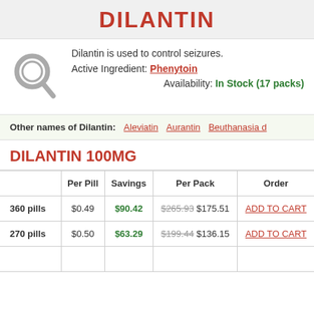DILANTIN
Dilantin is used to control seizures.
Active Ingredient: Phenytoin
Availability: In Stock (17 packs)
Other names of Dilantin: Aleviatin  Aurantin  Beuthanasia d
DILANTIN 100MG
|  | Per Pill | Savings | Per Pack | Order |
| --- | --- | --- | --- | --- |
| 360 pills | $0.49 | $90.42 | $265.93 $175.51 | ADD TO CART |
| 270 pills | $0.50 | $63.29 | $199.44 $136.15 | ADD TO CART |